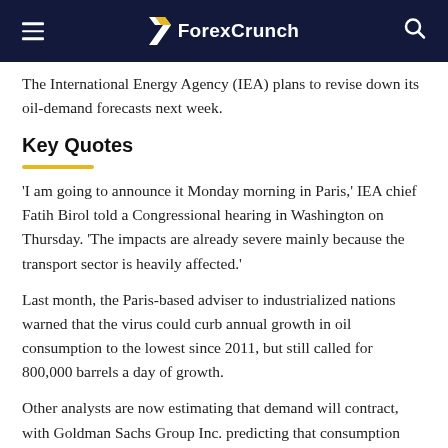ForexCrunch
The International Energy Agency (IEA) plans to revise down its oil-demand forecasts next week.
Key Quotes
'I am going to announce it Monday morning in Paris,' IEA chief Fatih Birol told a Congressional hearing in Washington on Thursday. 'The impacts are already severe mainly because the transport sector is heavily affected.'
Last month, the Paris-based adviser to industrialized nations warned that the virus could curb annual growth in oil consumption to the lowest since 2011, but still called for 800,000 barrels a day of growth.
Other analysts are now estimating that demand will contract, with Goldman Sachs Group Inc. predicting that consumption could shrink this year for only the fourth time